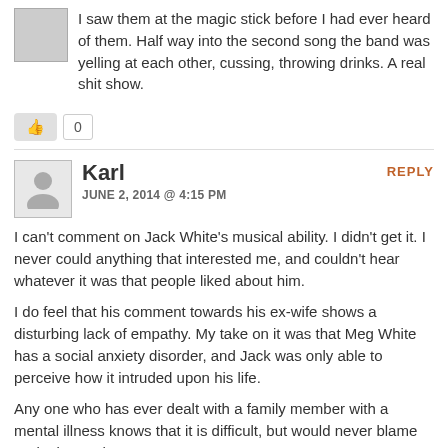I saw them at the magic stick before I had ever heard of them. Half way into the second song the band was yelling at each other, cussing, throwing drinks. A real shit show.
Karl
JUNE 2, 2014 @ 4:15 PM
REPLY
I can't comment on Jack White's musical ability. I didn't get it. I never could anything that interested me, and couldn't hear whatever it was that people liked about him.
I do feel that his comment towards his ex-wife shows a disturbing lack of empathy. My take on it was that Meg White has a social anxiety disorder, and Jack was only able to perceive how it intruded upon his life.
Any one who has ever dealt with a family member with a mental illness knows that it is difficult, but would never blame or denigrate the person.
For me, Jack White just excluded himself from being even considered a worthwhile human being.